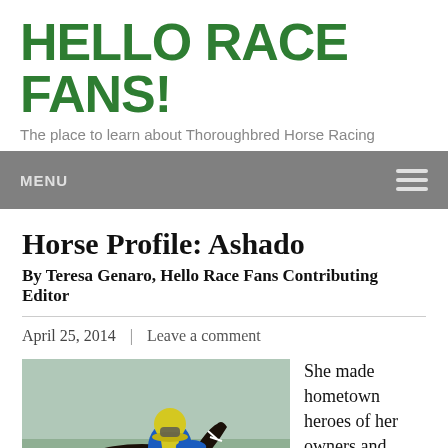HELLO RACE FANS!
The place to learn about Thoroughbred Horse Racing
MENU
Horse Profile: Ashado
By Teresa Genaro, Hello Race Fans Contributing Editor
April 25, 2014  |  Leave a comment
[Figure (photo): Jockey in blue and yellow silks riding a dark thoroughbred horse at a race track]
She made hometown heroes of her owners and